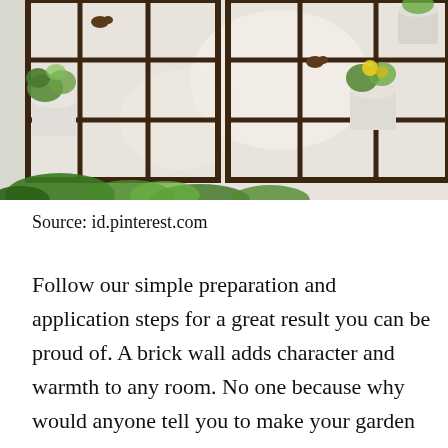[Figure (photo): Photo of a decorative wall-mounted window frame with white pots containing green plants and yellow flowers. Small bird figurines sit on the frame edges. Lush greenery fills the bottom of the frame.]
Source: id.pinterest.com
Follow our simple preparation and application steps for a great result you can be proud of. A brick wall adds character and warmth to any room. No one because why would anyone tell you to make your garden